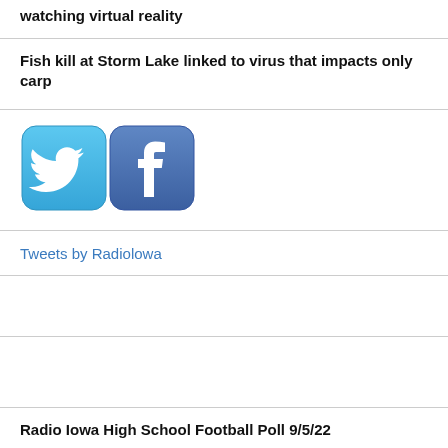watching virtual reality
Fish kill at Storm Lake linked to virus that impacts only carp
[Figure (illustration): Twitter and Facebook social media icon buttons side by side]
Tweets by Radiolowa
Radio Iowa High School Football Poll 9/5/22